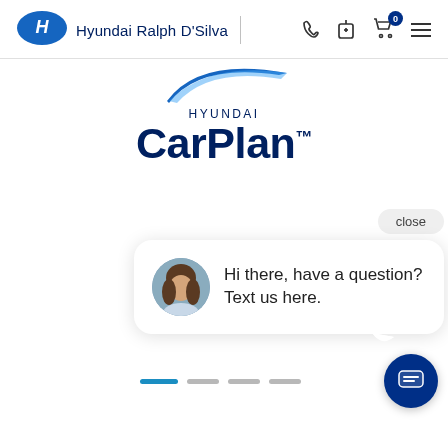Hyundai Ralph D'Silva
[Figure (logo): Hyundai CarPlan logo with blue swoosh and HYUNDAI CarPlan™ text]
[Figure (screenshot): Chat widget pop-up showing agent avatar and message: Hi there, have a question? Text us here. With close button, dot pager, and chat FAB button.]